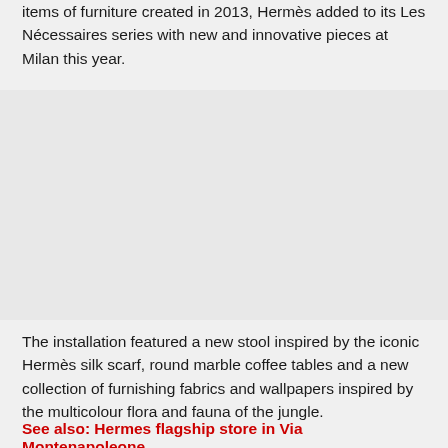items of furniture created in 2013, Hermès added to its Les Nécessaires series with new and innovative pieces at Milan this year.
[Figure (photo): Image area (appears as light gray/blank region, likely a photograph of Hermès furniture from Milan)]
The installation featured a new stool inspired by the iconic Hermès silk scarf, round marble coffee tables and a new collection of furnishing fabrics and wallpapers inspired by the multicolour flora and fauna of the jungle.
See also: Hermes flagship store in Via Montenapoleone